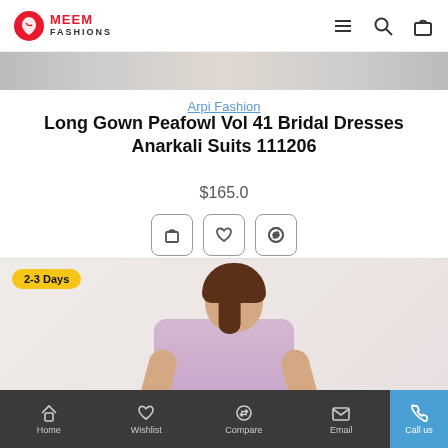MEEM FASHIONS
[Figure (photo): Product listing photo strip at top of page]
Arpi Fashion
Long Gown Peafowl Vol 41 Bridal Dresses Anarkali Suits 111206
$165.0
[Figure (photo): Model wearing a light purple/lavender floral anarkali suit, smiling, standing against a light wall. Badge reads '2-3 Days'.]
Home  Wishlist  Compare  Email  Call us